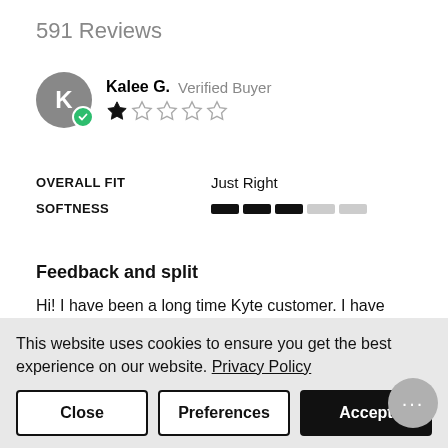591 Reviews
Kalee G. Verified Buyer — 1 star out of 5
OVERALL FIT: Just Right
SOFTNESS: (bar rating shown, approximately 3 out of 5 segments filled)
Feedback and split
Hi! I have been a long time Kyte customer. I have noticed a difference in the quality from when you first started making your clothing to now. I understand the demand to meet the market and the growing business. I also understand that mishaps happen. I feel though the material has become thinner and wasn't what it
This website uses cookies to ensure you get the best experience on our website. Privacy Policy
Close | Preferences | Accept